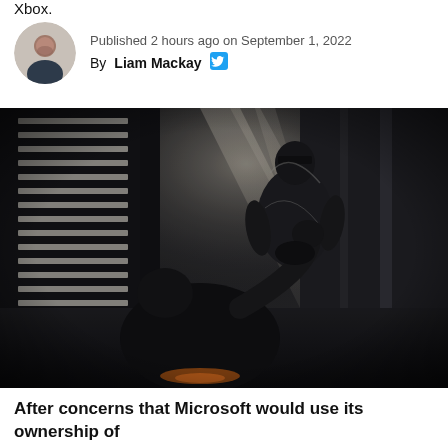Xbox.
Published 2 hours ago on September 1, 2022
By Liam Mackay
[Figure (photo): Dark action game screenshot showing armored figures in a dimly lit industrial environment with dramatic light rays]
After concerns that Microsoft would use its ownership of